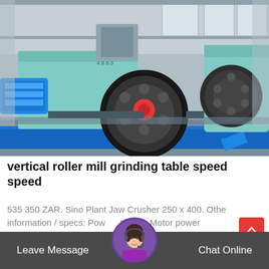[Figure (photo): Industrial vertical roller mill / grinding machine with large flywheel pulley, electric motor (blue), teal/green heavy machinery, mounted on blue steel frame, photographed in a factory/warehouse setting.]
vertical roller mill grinding table speed speed
535 350 ZAR. Sino Plant Jaw Crusher 250 x 400. Other information / specs: Power: 380v Motor power
[Figure (photo): Customer service agent avatar: woman wearing headset, circular portrait photo used as chat widget avatar.]
Leave Message   Chat Online